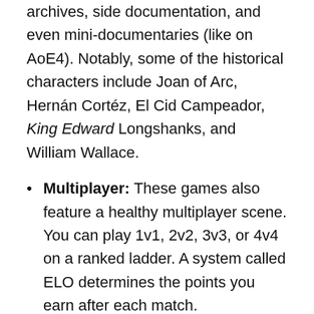archives, side documentation, and even mini-documentaries (like on AoE4). Notably, some of the historical characters include Joan of Arc, Hernán Cortéz, El Cid Campeador, King Edward Longshanks, and William Wallace.
Multiplayer: These games also feature a healthy multiplayer scene. You can play 1v1, 2v2, 3v3, or 4v4 on a ranked ladder. A system called ELO determines the points you earn after each match. Alternatively, you can play co-op against